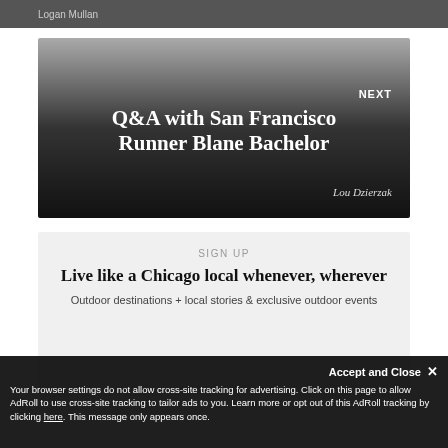Logan Mullan
NEXT
Q&A with San Francisco Runner Blane Bachelor
Lou Dzierzak
SIGN UP
Live like a Chicago local whenever, wherever
Outdoor destinations + local stories & exclusive outdoor events
Accept and Close ✕
Your browser settings do not allow cross-site tracking for advertising. Click on this page to allow AdRoll to use cross-site tracking to tailor ads to you. Learn more or opt out of this AdRoll tracking by clicking here. This message only appears once.